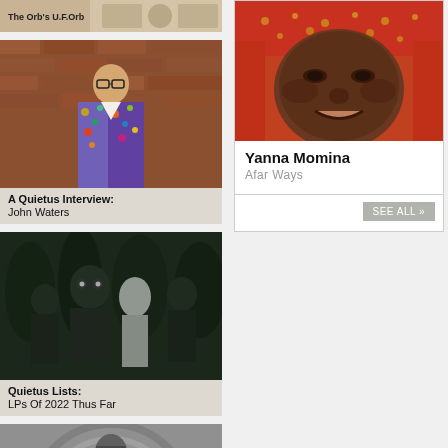[Figure (photo): Partial card at top showing 'The Orb's U.F.Orb' text on a light background]
[Figure (photo): Photo of John Waters in colorful blazer against brick wall]
A Quietus Interview:
John Waters
[Figure (photo): Black and white photo of figures in costume for Quietus Lists LPs of 2022]
Quietus Lists:
LPs Of 2022 Thus Far
[Figure (photo): Black and white photo of person with headband and concentric circles]
[Figure (photo): Close-up photo of Yanna Momina's face with red head covering]
Yanna Momina
Afar Ways
SEE ALL »